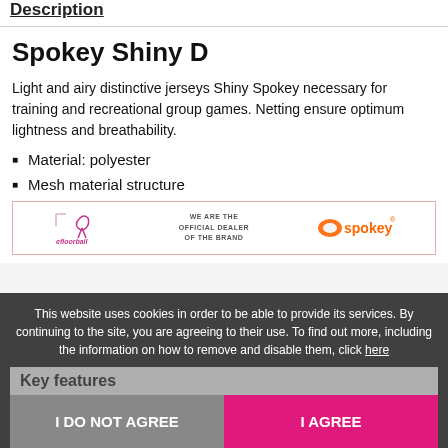Description
Spokey Shiny D
Light and airy distinctive jerseys Shiny Spokey necessary for training and recreational group games. Netting ensure optimum lightness and breathability.
Material: polyester
Mesh material structure
[Figure (logo): efloorball official dealer of Spokey brand banner with logos]
This website uses cookies in order to be able to provide its services. By continuing to the site, you are agreeing to their use. To find out more, including the information on how to remove and disable them, click here
I DO NOT AGREE | I AGREE
Key features